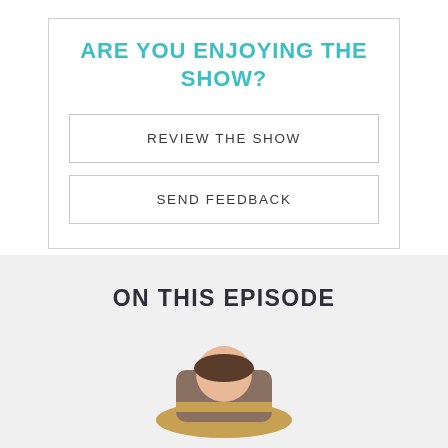ARE YOU ENJOYING THE SHOW?
REVIEW THE SHOW
SEND FEEDBACK
ON THIS EPISODE
[Figure (photo): Partial view of a person wearing a hat, cropped at bottom of page]